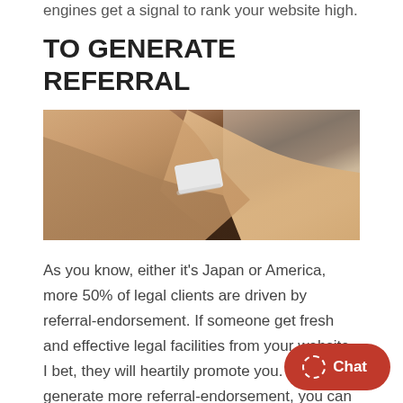engines get a signal to rank your website high.
TO GENERATE REFERRAL
[Figure (photo): Multiple hands of different skin tones clasped together, symbolizing unity and referral/partnership, with a white wristband visible on one wrist.]
As you know, either it’s Japan or America, more 50% of legal clients are driven by referral-endorsement. If someone get fresh and effective legal facilities from your website. I bet, they will heartily promote you. To generate more referral-endorsement, you can tactically post your success story dem...